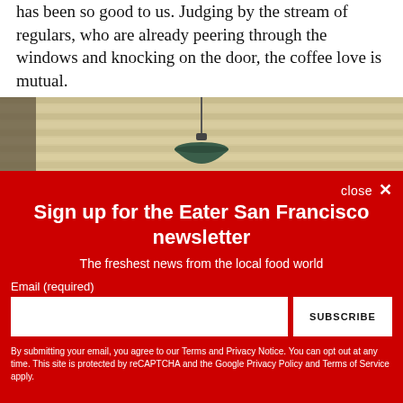has been so good to us. Judging by the stream of regulars, who are already peering through the windows and knocking on the door, the coffee love is mutual.
[Figure (photo): Interior photo showing a green pendant lamp hanging in front of horizontal wood slat wall paneling.]
Sign up for the Eater San Francisco newsletter
The freshest news from the local food world
Email (required)
SUBSCRIBE
By submitting your email, you agree to our Terms and Privacy Notice. You can opt out at any time. This site is protected by reCAPTCHA and the Google Privacy Policy and Terms of Service apply.